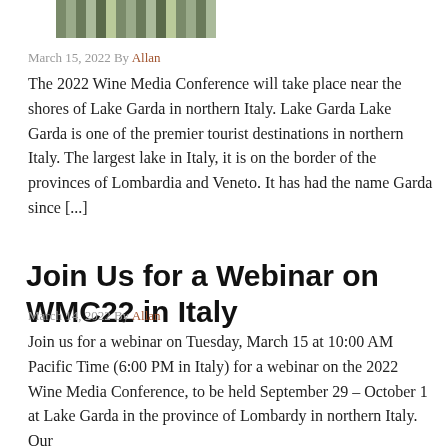[Figure (photo): Partial image of a scenic location, cropped at top]
March 15, 2022 By Allan
The 2022 Wine Media Conference will take place near the shores of Lake Garda in northern Italy. Lake Garda Lake Garda is one of the premier tourist destinations in northern Italy. The largest lake in Italy, it is on the border of the provinces of Lombardia and Veneto. It has had the name Garda since [...]
Join Us for a Webinar on WMC22 in Italy
March 14, 2022 By Allan
Join us for a webinar on Tuesday, March 15 at 10:00 AM Pacific Time (6:00 PM in Italy) for a webinar on the 2022 Wine Media Conference, to be held September 29 – October 1 at Lake Garda in the province of Lombardy in northern Italy. Our